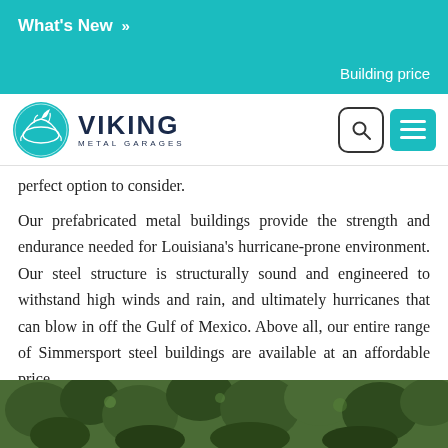What's New »
Building price
[Figure (logo): Viking Metal Garages logo with teal Viking ship emblem and bold text]
perfect option to consider.
Our prefabricated metal buildings provide the strength and endurance needed for Louisiana's hurricane-prone environment. Our steel structure is structurally sound and engineered to withstand high winds and rain, and ultimately hurricanes that can blow in off the Gulf of Mexico. Above all, our entire range of Simmersport steel buildings are available at an affordable price.
[Figure (photo): Photo of dense green foliage/trees]